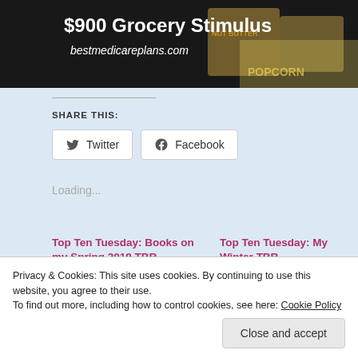[Figure (photo): Dark-background advertisement image with text '$900 Grocery Stimulus' in bold white font and 'bestmedicareplans.com' in italic white, overlaid on a grocery store shelf with peanut butter and popcorn products.]
Share this:
Twitter  Facebook
Loading...
Top Ten Tuesday: Books on my Spring 2019 TBR
March 19, 2019
In "Home"
Top Ten Tuesday: My Winter TBR
December 17, 2019
In "Home"
Privacy & Cookies: This site uses cookies. By continuing to use this website, you agree to their use.
To find out more, including how to control cookies, see here: Cookie Policy
[Close and accept]